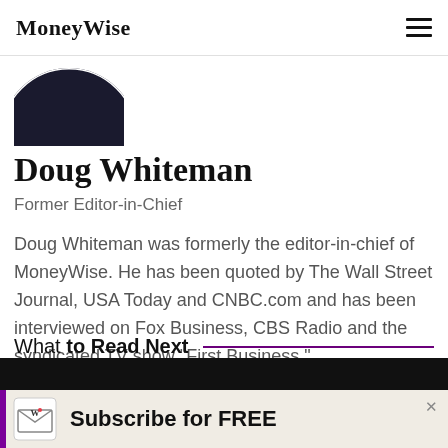MoneyWise
[Figure (photo): Partial profile photo of Doug Whiteman, showing top of head with dark background]
Doug Whiteman
Former Editor-in-Chief
Doug Whiteman was formerly the editor-in-chief of MoneyWise. He has been quoted by The Wall Street Journal, USA Today and CNBC.com and has been interviewed on Fox Business, CBS Radio and the syndicated TV show "First Business."
What to Read Next
[Figure (photo): Subscribe for FREE banner with MoneyWise envelope logo icon]